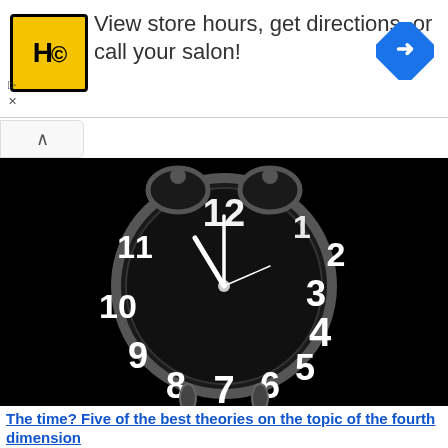[Figure (infographic): Advertisement banner: HC salon logo (yellow circle with HC text), text 'View store hours, get directions, or call your salon!', blue diamond arrow icon on right, play and close controls bottom left]
[Figure (photo): Black and white close-up photograph of a vintage alarm clock with large bold numerals on a black background]
The time? Five of the best theories on the topic of the fourth dimension
"Time is what prevents everything to happen at once." Statement by physicist John Wheeler fair summary of what makes the time, unlike anything else. This especially stands out on the background of the fact that...